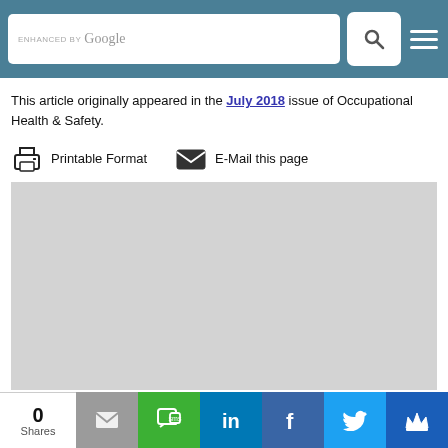ENHANCED BY Google [search bar with search icon and menu icon]
This article originally appeared in the July 2018 issue of Occupational Health & Safety.
Printable Format   E-Mail this page
[Figure (other): Gray placeholder image area]
0 Shares | email | SMS | LinkedIn | Facebook | Twitter | Crown